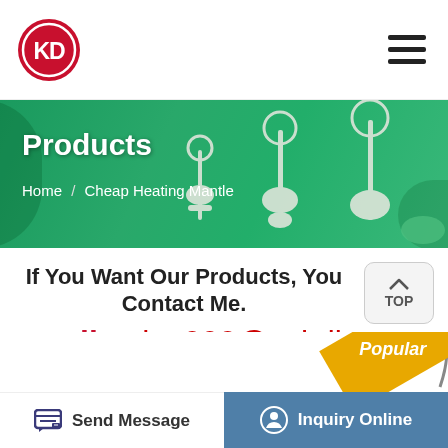[Figure (logo): KD logo: red circle with white KD letters, top navigation bar with hamburger menu]
[Figure (photo): Green banner with laboratory equipment (rotary evaporators) on the right side. Text overlay: Products heading and breadcrumb Home / Cheap Heating Mantle]
If You Want Our Products, You Contact Me.
email:sales002@zzkdinst
[Figure (photo): Product images of laboratory equipment with Popular badge in gold/yellow]
Send Message
Inquiry Online